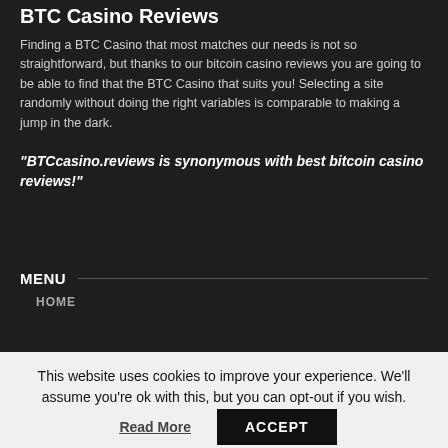BTC Casino Reviews
Finding a BTC Casino that most matches our needs is not so straightforward, but thanks to our bitcoin casino reviews you are going to be able to find that the BTC Casino that suits you! Selecting a site randomly without doing the right variables is comparable to making a jump in the dark.
“BTCcasino.reviews is synonymous with best bitcoin casino reviews!”
MENU
HOME
This website uses cookies to improve your experience. We'll assume you're ok with this, but you can opt-out if you wish.
Read More | ACCEPT